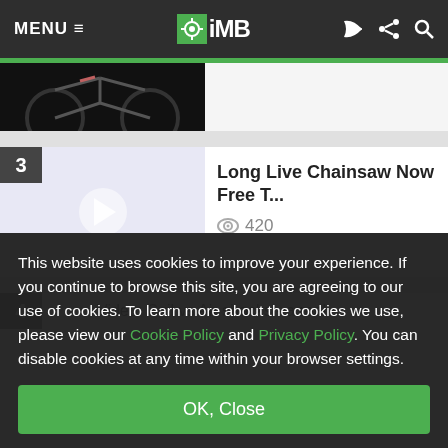MENU ≡  iMB  (rss) (share) (search)
[Figure (photo): Partial view of a mountain bike against dark background, top portion of article image]
Long Live Chainsaw Now Free T...
👁 420
Video: Coil vs Air shocks - a real
This website uses cookies to improve your experience. If you continue to browse this site, you are agreeing to our use of cookies. To learn more about the cookies we use, please view our Cookie Policy and Privacy Policy. You can disable cookies at any time within your browser settings.
OK, Close